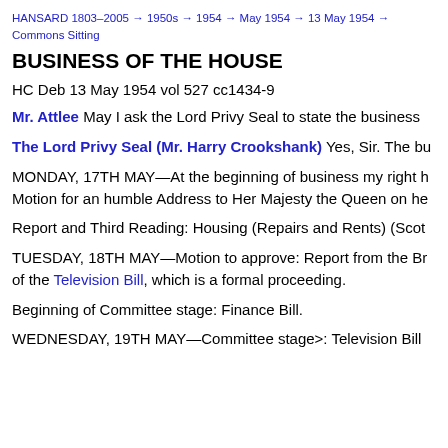HANSARD 1803–2005 → 1950s → 1954 → May 1954 → 13 May 1954 →
Commons Sitting
BUSINESS OF THE HOUSE
HC Deb 13 May 1954 vol 527 cc1434-9
Mr. Attlee May I ask the Lord Privy Seal to state the business
The Lord Privy Seal (Mr. Harry Crookshank) Yes, Sir. The bu
MONDAY, 17TH MAY—At the beginning of business my right h Motion for an humble Address to Her Majesty the Queen on he
Report and Third Reading: Housing (Repairs and Rents) (Scot
TUESDAY, 18TH MAY—Motion to approve: Report from the Br of the Television Bill, which is a formal proceeding.
Beginning of Committee stage: Finance Bill.
WEDNESDAY, 19TH MAY—Committee stage>: Television Bill